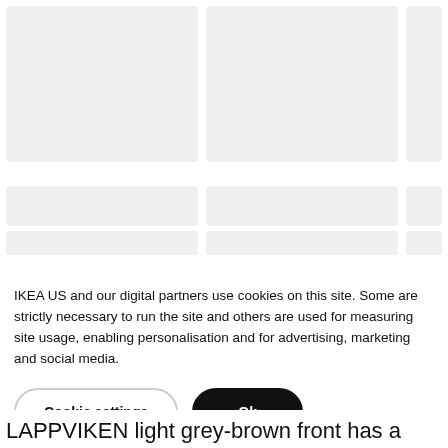[Figure (photo): Grid of product image placeholders (light grey rectangles) showing IKEA website layout with two large images top row and smaller thumbnails below]
IKEA US and our digital partners use cookies on this site. Some are strictly necessary to run the site and others are used for measuring site usage, enabling personalisation and for advertising, marketing and social media.
Cookie settings
Ok
LAPPVIKEN light grey-brown front has a